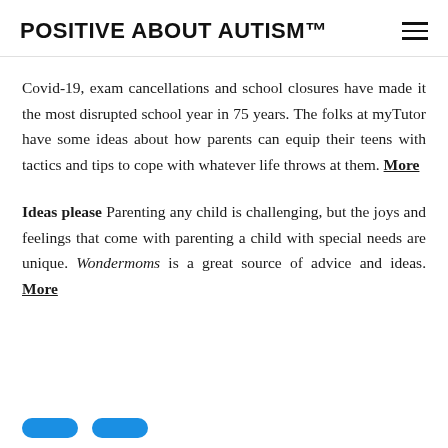POSITIVE ABOUT AUTISM™
Covid-19, exam cancellations and school closures have made it the most disrupted school year in 75 years. The folks at myTutor have some ideas about how parents can equip their teens with tactics and tips to cope with whatever life throws at them. More
Ideas please Parenting any child is challenging, but the joys and feelings that come with parenting a child with special needs are unique. Wondermoms is a great source of advice and ideas. More